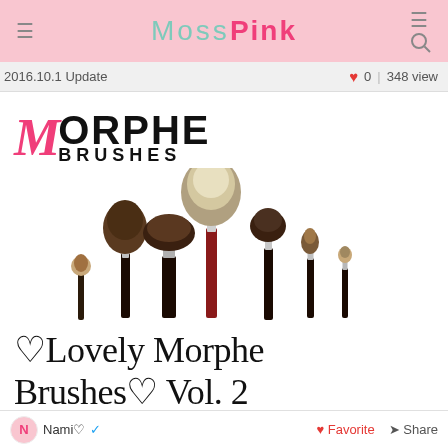MossPink
2016.10.1 Update   ♥ 0 | 348 view
[Figure (logo): Morphe Brushes logo with pink M and black ORPHE BRUSHES text]
[Figure (photo): Collection of Morphe makeup brushes of various sizes arranged together]
♡Lovely Morphe Brushes♡ Vol. 2
Nami♡  ✔   ♥ Favorite  ➤ Share